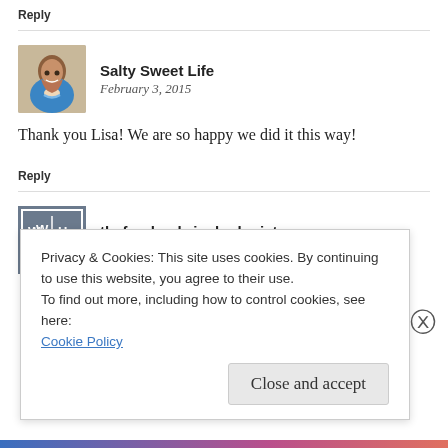Reply
Salty Sweet Life
February 3, 2015
Thank you Lisa! We are so happy we did it this way!
Reply
thefoodandwinehedonist
February 3, 2015
Privacy & Cookies: This site uses cookies. By continuing to use this website, you agree to their use.
To find out more, including how to control cookies, see here:
Cookie Policy
Close and accept